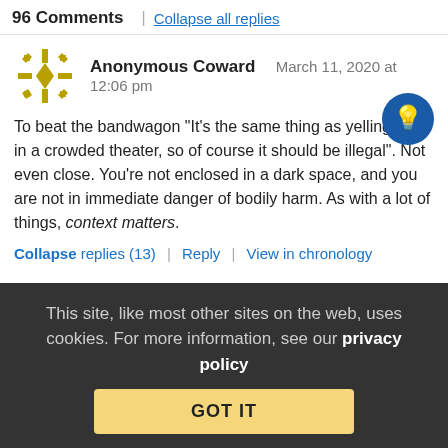96 Comments | Collapse all replies
Anonymous Coward   March 11, 2020 at 12:06 pm
To beat the bandwagon "It's the same thing as yelling ‘Fire’ in a crowded theater, so of course it should be illegal". Not even close. You're not enclosed in a dark space, and you are not in immediate danger of bodily harm. As with a lot of things, context matters.
Collapse replies (13) | Reply | View in chronology
This site, like most other sites on the web, uses cookies. For more information, see our privacy policy
GOT IT